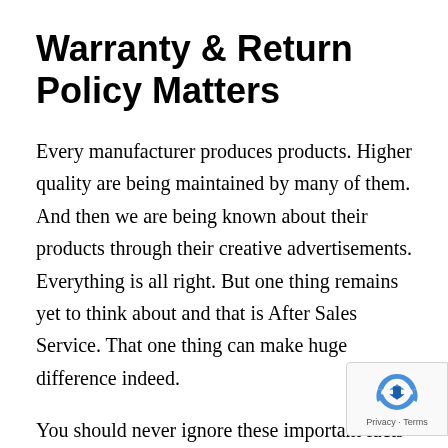Warranty & Return Policy Matters
Every manufacturer produces products. Higher quality are being maintained by many of them. And then we are being known about their products through their creative advertisements. Everything is all right. But one thing remains yet to think about and that is After Sales Service. That one thing can make huge difference indeed.
You should never ignore these important facts like Warranty, guarantee and also return policies. E... after buying the best quality product with the h... amount of price, anything can happen. Nothing lasts